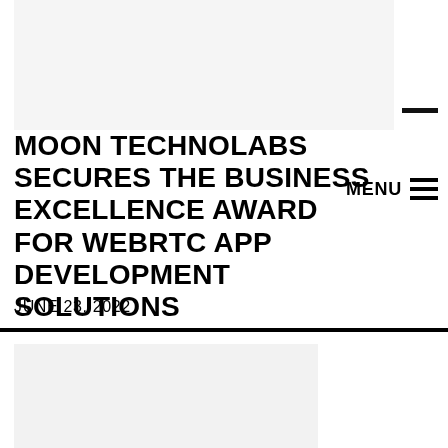[Figure (other): Light grey rectangle placeholder image in the header area]
MOON TECHNOLABS SECURES THE BUSINESS EXCELLENCE AWARD FOR WEBRTC APP DEVELOPMENT SOLUTIONS
MENU ≡
JUNE 23, 2022
[Figure (other): Light grey rectangle placeholder image in the lower section]